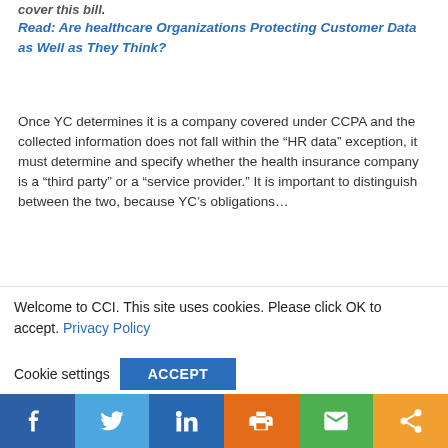cover this bill.
Read: Are healthcare Organizations Protecting Customer Data as Well as They Think?
Once YC determines it is a company covered under CCPA and the collected information does not fall within the “HR data” exception, it must determine and specify whether the health insurance company is a “third party” or a “service provider.” It is important to distinguish between the two, because YC’s obligations…
Welcome to CCI. This site uses cookies. Please click OK to accept. Privacy Policy
Cookie settings   ACCEPT